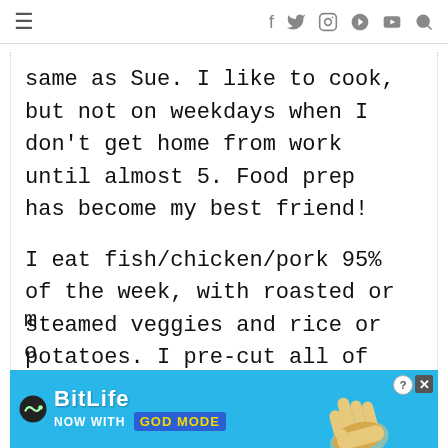≡  f  twitter  instagram  pinterest  youtube  search
same as Sue. I like to cook, but not on weekdays when I don't get home from work until almost 5. Food prep has become my best friend!
I eat fish/chicken/pork 95% of the week, with roasted or steamed veggies and rice or potatoes. I pre-cut all of m... o...
[Figure (other): BitLife advertisement banner: 'BitLife — NOW WITH GOD MODE' on blue background with hand graphic, help and close buttons]